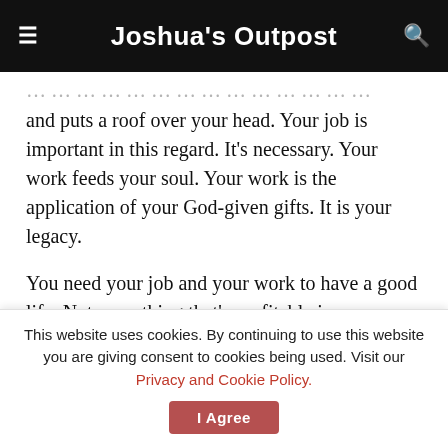Joshua's Outpost
and puts a roof over your head. Your job is important in this regard. It's necessary. Your work feeds your soul. Your work is the application of your God-given gifts. It is your legacy.
You need your job and your work to have a good life. Not everything that's profitable is meaningful and not everything that's meaningful is profitable. Your job brings in money and your work leaves the legacy. You need both.
The sooner you start building a
This website uses cookies. By continuing to use this website you are giving consent to cookies being used. Visit our Privacy and Cookie Policy.